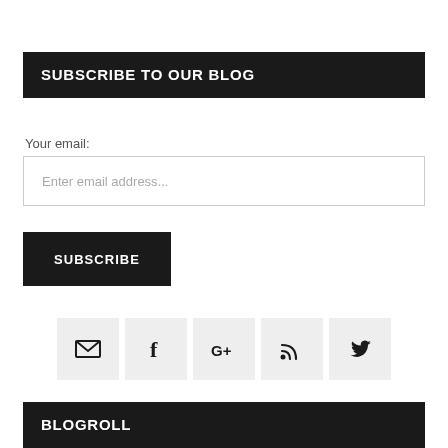SUBSCRIBE TO OUR BLOG
Your email:
Enter email address...
SUBSCRIBE
[Figure (infographic): Row of five social media icon buttons: email/envelope, Facebook, Google+, RSS feed, Twitter]
BLOGROLL